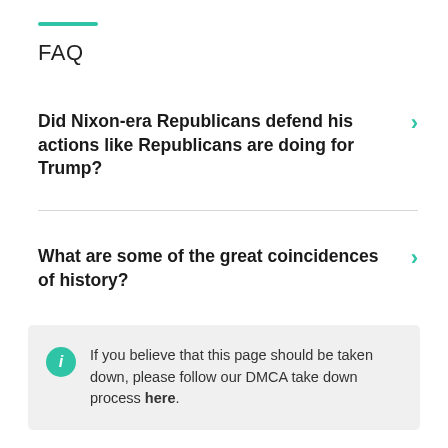FAQ
Did Nixon-era Republicans defend his actions like Republicans are doing for Trump?
What are some of the great coincidences of history?
If you believe that this page should be taken down, please follow our DMCA take down process here.